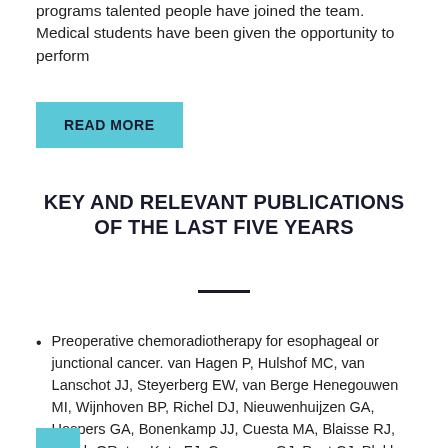programs talented people have joined the team. Medical students have been given the opportunity to perform
READ MORE
KEY AND RELEVANT PUBLICATIONS OF THE LAST FIVE YEARS
Preoperative chemoradiotherapy for esophageal or junctional cancer. van Hagen P, Hulshof MC, van Lanschot JJ, Steyerberg EW, van Berge Henegouwen MI, Wijnhoven BP, Richel DJ, Nieuwenhuijzen GA, Hospers GA, Bonenkamp JJ, Cuesta MA, Blaisse RJ, Busch OR, ten Kate FJ, Creemers GJ, Punt CJ, Plukker JT, Verheul HM, Spillenaar Bilgen EJ, van Dekken H, van der Sangen MJ, Rozema T, Biermann K, Beukema JC, Piet AH... RijCM, Reinders JG...